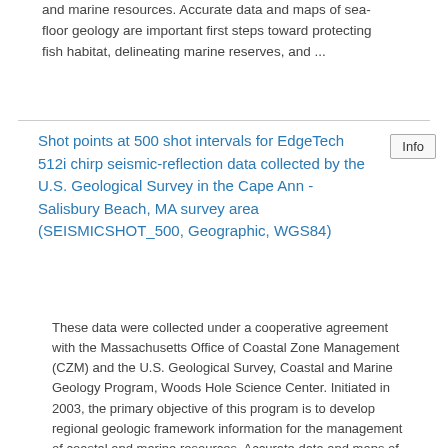and marine resources. Accurate data and maps of sea-floor geology are important first steps toward protecting fish habitat, delineating marine reserves, and ...
Shot points at 500 shot intervals for EdgeTech 512i chirp seismic-reflection data collected by the U.S. Geological Survey in the Cape Ann - Salisbury Beach, MA survey area (SEISMICSHOT_500, Geographic, WGS84)
These data were collected under a cooperative agreement with the Massachusetts Office of Coastal Zone Management (CZM) and the U.S. Geological Survey, Coastal and Marine Geology Program, Woods Hole Science Center. Initiated in 2003, the primary objective of this program is to develop regional geologic framework information for the management of coastal and marine resources. Accurate data and maps of sea-floor geology are important first steps toward protecting fish habitat, delineating marine reserves, and ...
Survey lines along which EdgeTech 512i chirp seismic-reflection data were collected by the U.S. Geological Survey in the Cape Ann - Salisbury Beach, MA survey area (SEISMICTRACKLINE, Geographic, WGS84)
These data were collected under a cooperative agreement with the Massachusetts Office of Coastal Zone Management (CZM) and the U.S. Geological Survey, Coastal and Marine Geology